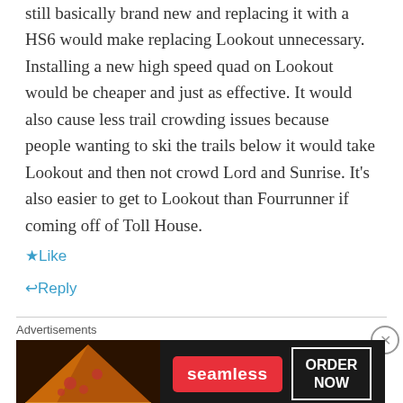still basically brand new and replacing it with a HS6 would make replacing Lookout unnecessary. Installing a new high speed quad on Lookout would be cheaper and just as effective. It would also cause less trail crowding issues because people wanting to ski the trails below it would take Lookout and then not crowd Lord and Sunrise. It's also easier to get to Lookout than Fourrunner if coming off of Toll House.
Like
Reply
Advertisements
[Figure (photo): Seamless food delivery advertisement banner with pizza image on left, Seamless logo in red, and ORDER NOW button on right against dark background]